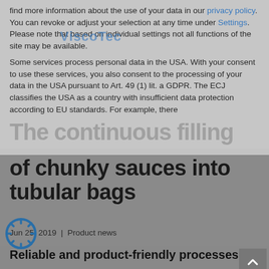find more information about the use of your data in our privacy policy. You can revoke or adjust your selection at any time under Settings. Please note that based on individual settings not all functions of the site may be available.
Some services process personal data in the USA. With your consent to use these services, you also consent to the processing of your data in the USA pursuant to Art. 49 (1) lit. a GDPR. The ECJ classifies the USA as a country with insufficient data protection according to EU standards. For example, there
The continuous filling of chunky sauces into tubular bags
Jun 25, 2019 | Product news
Reliable and product-friendly processes
Pre-cooked sauces are convenient for the consumer but pose a challenge for the bottlers and their machines. In addition to filling, the mixing of the many ingredients also plays a central role in the production process.